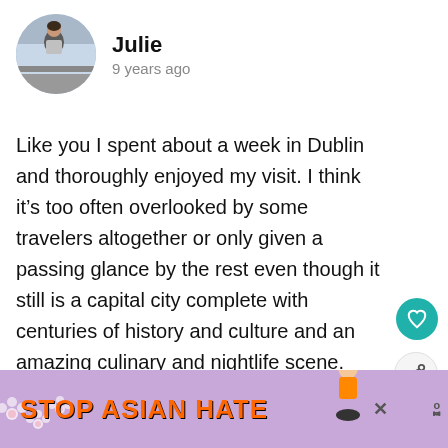[Figure (photo): Circular profile photo of a person (Julie) outdoors on a bridge or similar setting]
Julie
9 years ago
Like you I spent about a week in Dublin and thoroughly enjoyed my visit. I think it’s too often overlooked by some travelers altogether or only given a passing glance by the rest even though it still is a capital city complete with centuries of history and culture and an amazing culinary and nightlife scene.
Ironically I had no rain while in Dublin, only when I
[Figure (infographic): STOP ASIAN HATE advertisement banner in purple with orange bold text and flower decorations and a cartoon figure]